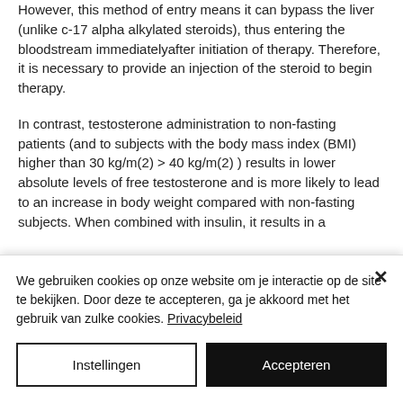However, this method of entry means it can bypass the liver (unlike c-17 alpha alkylated steroids), thus entering the bloodstream immediatelyafter initiation of therapy. Therefore, it is necessary to provide an injection of the steroid to begin therapy.
In contrast, testosterone administration to non-fasting patients (and to subjects with the body mass index (BMI) higher than 30 kg/m(2) > 40 kg/m(2) ) results in lower absolute levels of free testosterone and is more likely to lead to an increase in body weight compared with non-fasting subjects. When combined with insulin, it results in a
We gebruiken cookies op onze website om je interactie op de site te bekijken. Door deze te accepteren, ga je akkoord met het gebruik van zulke cookies. Privacybeleid